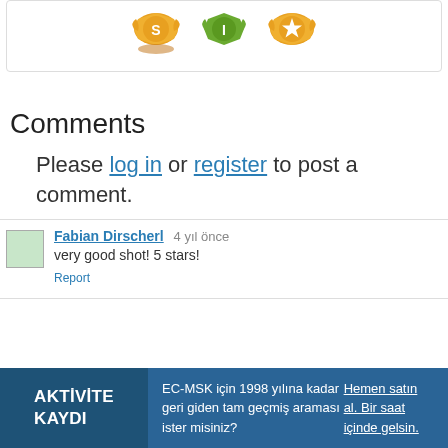[Figure (illustration): Three achievement badges in a card: orange badge with 'S', green badge with 'I', orange badge with star]
Comments
Please log in or register to post a comment.
Fabian Dirscherl  4 yıl önce
very good shot! 5 stars!
Report
AKTİVİTE KAYDI   EC-MSK için 1998 yılına kadar geri giden tam geçmiş araması ister misiniz? Hemen satın al. Bir saat içinde gelsin.